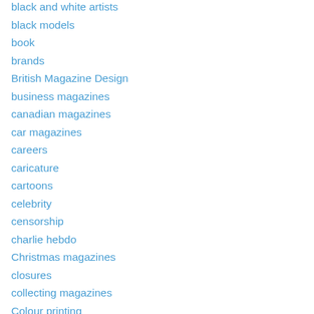black and white artists
black models
book
brands
British Magazine Design
business magazines
canadian magazines
car magazines
careers
caricature
cartoons
celebrity
censorship
charlie hebdo
Christmas magazines
closures
collecting magazines
Colour printing
comics
computer magazines